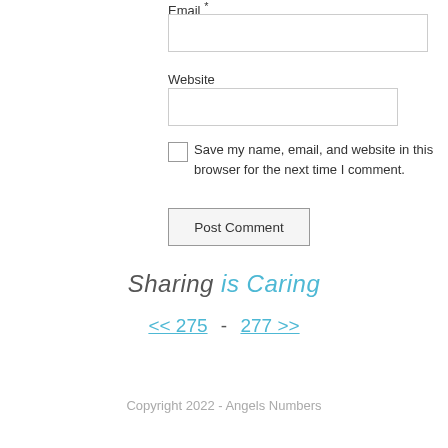Email *
Website
Save my name, email, and website in this browser for the next time I comment.
Post Comment
Sharing is Caring
<< 275  -  277 >>
Copyright 2022 - Angels Numbers